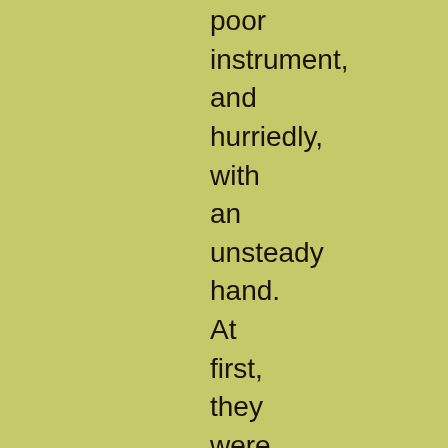poor instrument, and hurriedly, with an unsteady hand. At first, they were read as D. I. C.; but, on being more